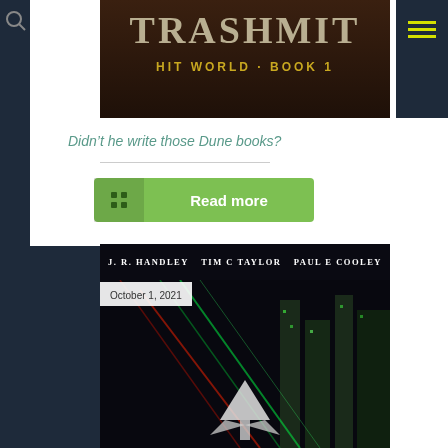[Figure (photo): Book cover top portion showing 'TRASHMIT HIT WORLD BOOK 1' title on dark background]
Didn’t he write those Dune books?
Read more
[Figure (photo): Second book cover showing sci-fi space scene with spacecraft, city buildings, authors: J. R. Handley, Tim C Taylor, Paul E Cooley. Date: October 1, 2021]